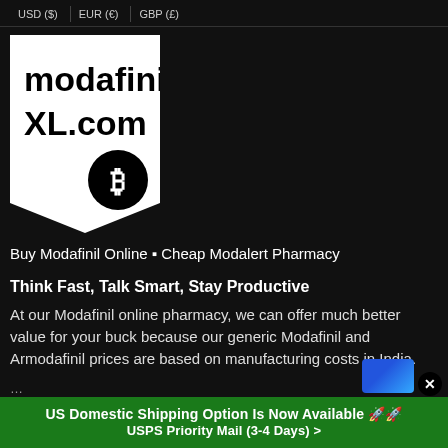USD ($)   EUR (€)   GBP (£)
[Figure (logo): modafinilXL.com logo: white bookmark/badge shape with bold black text 'modafinilXL.com' and a black circle containing a Bitcoin symbol at bottom right]
Buy Modafinil Online ▪ Cheap Modalert Pharmacy
Think Fast, Talk Smart, Stay Productive
At our Modafinil online pharmacy, we can offer much better value for your buck because our generic Modafinil and Armodafinil prices are based on manufacturing costs in India.
US Domestic Shipping Option Is Now Available 🚀🚀 USPS Priority Mail (3-4 Days) >